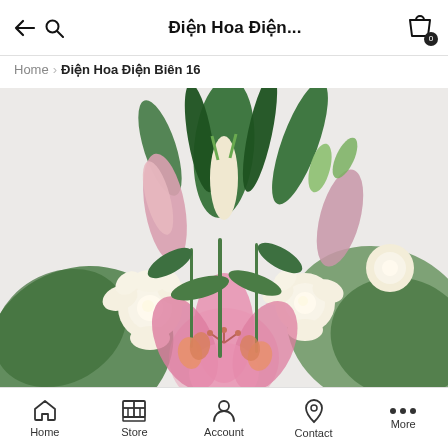Điện Hoa Điện...
Home > Điện Hoa Điện Biên 16
[Figure (photo): A floral bouquet featuring pink lilies, white roses, lily buds, and green foliage wrapped in green paper, photographed against a light grey/white background.]
Home  Store  Account  Contact  More